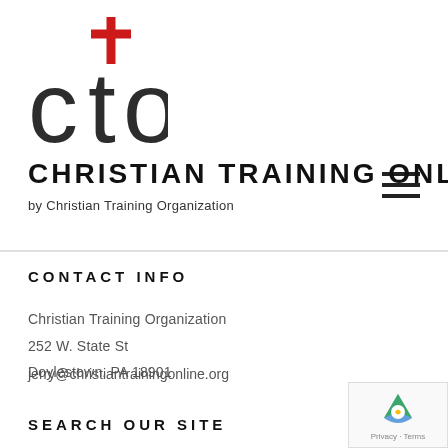[Figure (logo): CTO logo with red cross above the letter 't' in 'cto', displayed in dark gray sans-serif letters]
CHRISTIAN TRAINING ONLINE
by Christian Training Organization
CONTACT INFO
Christian Training Organization
252 W. State St
Doylestown, PA 18901
jerry@christiantrainingonline.org
SEARCH OUR SITE